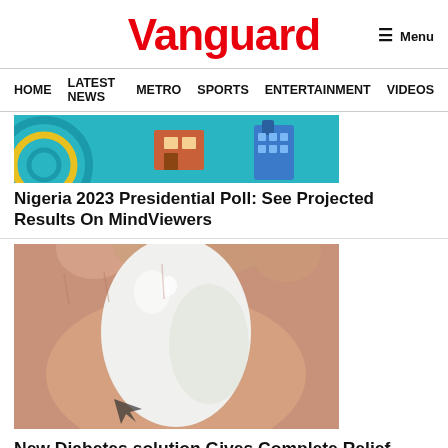Vanguard
≡ Menu
HOME  LATEST NEWS  METRO  SPORTS  ENTERTAINMENT  VIDEOS
[Figure (screenshot): Colorful illustrated banner image with teal background and abstract graphic elements]
Nigeria 2023 Presidential Poll: See Projected Results On MindViewers
[Figure (photo): Close-up photo of a hand holding a white peeled hard-boiled egg]
New Diabetes solution Gives Complete Relief From Type 2 Diabetes, Lowers Blood sugar without insulin